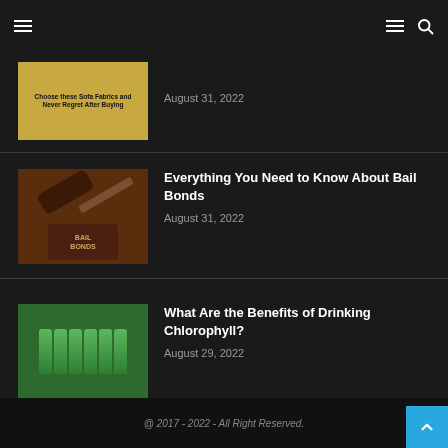Navigation header with hamburger menu and search icon
[Figure (photo): Sofa fabric thumbnail with text 'Choose these Sofa Fabrics and Never Regret After Buying']
Everything You Need to Know About Bail Bonds
August 31, 2022
[Figure (photo): Bail Bonds gavel and sound block image]
Everything You Need to Know About Bail Bonds
August 31, 2022
[Figure (photo): Chlorophyll drink bottles in green packaging]
What Are the Benefits of Drinking Chlorophyll?
August 29, 2022
@ 2017 - 2022 - All Right Reserved.